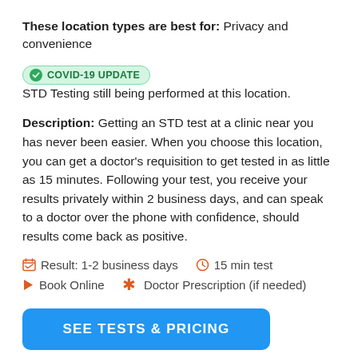These location types are best for: Privacy and convenience
COVID-19 UPDATE  STD Testing still being performed at this location.
Description: Getting an STD test at a clinic near you has never been easier. When you choose this location, you can get a doctor's requisition to get tested in as little as 15 minutes. Following your test, you receive your results privately within 2 business days, and can speak to a doctor over the phone with confidence, should results come back as positive.
Result: 1-2 business days   15 min test
Book Online   Doctor Prescription (if needed)
SEE TESTS & PRICING